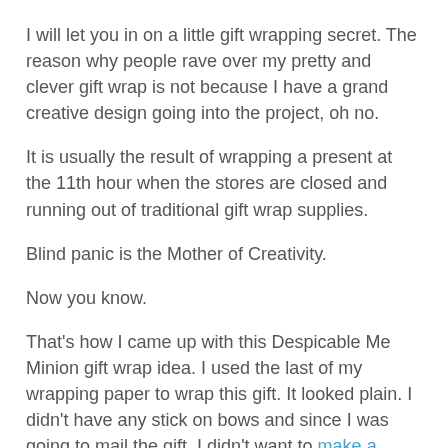I will let you in on a little gift wrapping secret. The reason why people rave over my pretty and clever gift wrap is not because I have a grand creative design going into the project, oh no.
It is usually the result of wrapping a present at the 11th hour when the stores are closed and running out of traditional gift wrap supplies.
Blind panic is the Mother of Creativity.
Now you know.
That's how I came up with this Despicable Me Minion gift wrap idea. I used the last of my wrapping paper to wrap this gift. It looked plain. I didn't have any stick on bows and since I was going to mail the gift, I didn't want to make a magazine bow (read the tutorial here) because it might be crushed.
A yellow Twinkie shaped present with twisted puffs reminded me of a Minion. Hey, let's make Minion gift wrap!